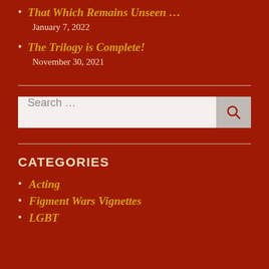That Which Remains Unseen …
January 7, 2022
The Trilogy is Complete!
November 30, 2021
CATEGORIES
Acting
Figment Wars Vignettes
LGBT